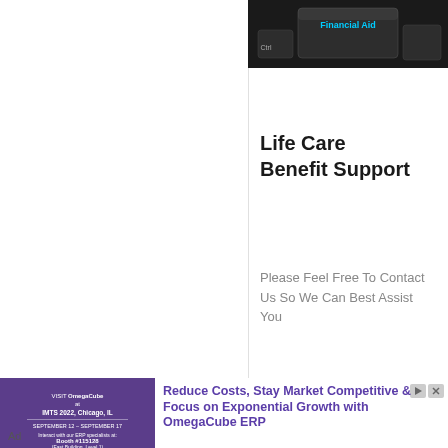[Figure (photo): Keyboard with 'Financial Aid' key and Ctrl key visible, dark background]
Life Care Benefit Support
Please Feel Free To Contact Us So We Can Best Assist You
[Figure (photo): Advertisement: OmegaCube ERP - VISIT OmegaCube at IMTS 2022, Chicago, IL, September 12 - September 17. Interact with our ERP specialists at Booth #115128 (East Building, Level 1). Purple background with geometric design.]
Reduce Costs, Stay Market Competitive & Focus on Exponential Growth with OmegaCube ERP
Ad